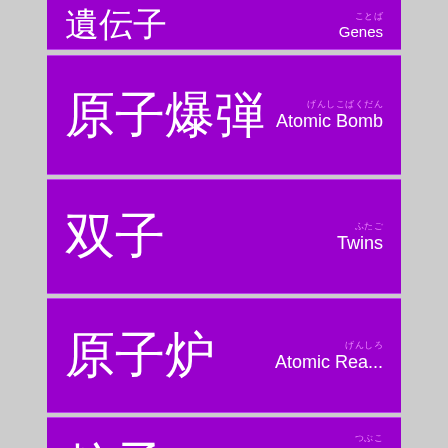遺伝子 / Genes
原子爆弾 / Atomic Bomb
双子 / Twins
原子炉 / Atomic Rea...
粒子 / Particle
椅子 / Chair
素粒子 / Elementary...
辛子 / Mustard
扇子 / Folding Fan (partial)